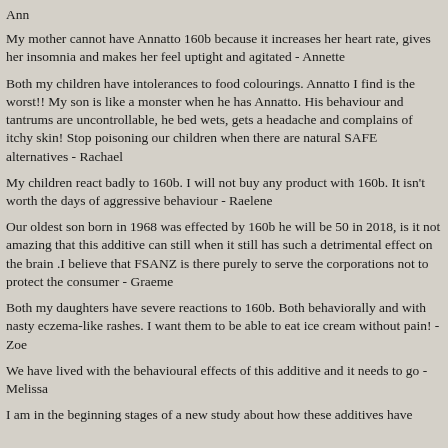Ann
My mother cannot have Annatto 160b because it increases her heart rate, gives her insomnia and makes her feel uptight and agitated - Annette
Both my children have intolerances to food colourings. Annatto I find is the worst!! My son is like a monster when he has Annatto. His behaviour and tantrums are uncontrollable, he bed wets, gets a headache and complains of itchy skin! Stop poisoning our children when there are natural SAFE alternatives - Rachael
My children react badly to 160b. I will not buy any product with 160b. It isn't worth the days of aggressive behaviour - Raelene
Our oldest son born in 1968 was effected by 160b he will be 50 in 2018, is it not amazing that this additive can still when it still has such a detrimental effect on the brain .I believe that FSANZ is there purely to serve the corporations not to protect the consumer - Graeme
Both my daughters have severe reactions to 160b. Both behaviorally and with nasty eczema-like rashes. I want them to be able to eat ice cream without pain! - Zoe
We have lived with the behavioural effects of this additive and it needs to go - Melissa
I am in the beginning stages of a new study about how these additives have...